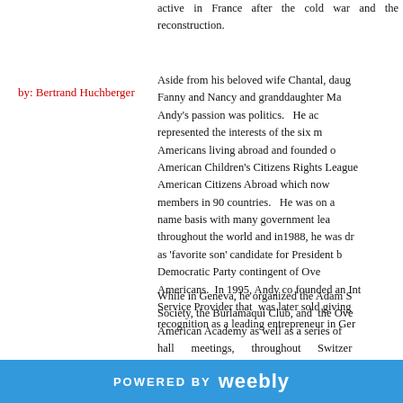active in France after the cold war and the reconstruction.
by: Bertrand Huchberger
Aside from his beloved wife Chantal, daughters Fanny and Nancy and granddaughter Ma... Andy's passion was politics. He ac... represented the interests of the six m... Americans living abroad and founded o... American Children's Citizens Rights League... American Citizens Abroad which now members in 90 countries. He was on a name basis with many government lea... throughout the world and in1988, he was dr... as 'favorite son' candidate for President b... Democratic Party contingent of Ove... Americans. In 1995, Andy co founded an Int... Service Provider that was later sold giving recognition as a leading entrepreneur in Ger...
While in Geneva, he organized the Adam S... Society, the Burlamaqui Club, and the Ove... American Academy as well as a series of hall meetings, throughout Switzer...
POWERED BY weebly